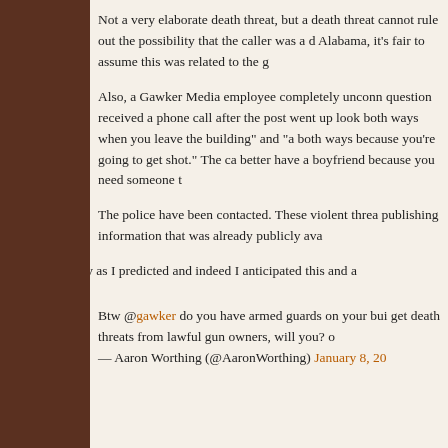Not a very elaborate death threat, but a death threat cannot rule out the possibility that the caller was a d Alabama, it's fair to assume this was related to the g
Also, a Gawker Media employee completely unconn question received a phone call after the post went up look both ways when you leave the building" and "a both ways because you're going to get shot." The ca better have a boyfriend because you need someone t
The police have been contacted. These violent threa publishing information that was already publicly ava
It is exactly as I predicted and indeed I anticipated this and a
Btw @gawker do you have armed guards on your bui get death threats from lawful gun owners, will you? c — Aaron Worthing (@AaronWorthing) January 8, 20